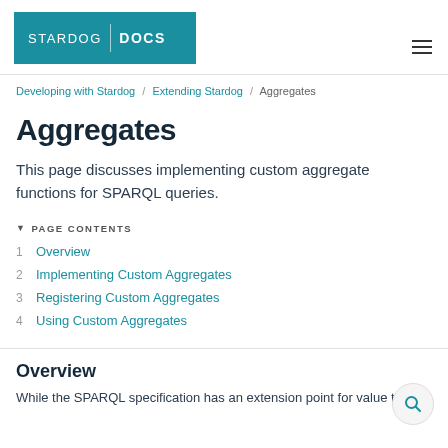STARDOG | DOCS
Developing with Stardog / Extending Stardog / Aggregates
Aggregates
This page discusses implementing custom aggregate functions for SPARQL queries.
PAGE CONTENTS
1  Overview
2  Implementing Custom Aggregates
3  Registering Custom Aggregates
4  Using Custom Aggregates
Overview
While the SPARQL specification has an extension point for value testing